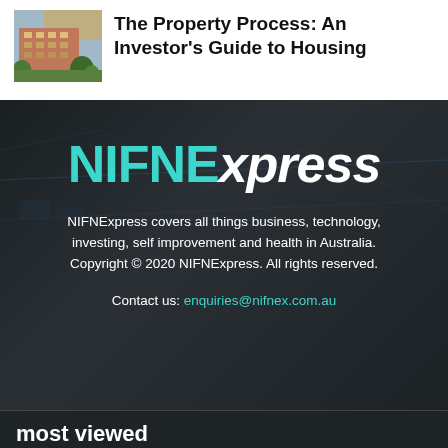[Figure (photo): Photo of an apartment building complex with trees and greenery]
The Property Process: An Investor's Guide to Housing
[Figure (logo): NIFNExpress logo — NIFNE in teal/cyan bold, xpress in white italic]
NIFNExpress covers all things business, technology, investing, self improvement and health in Australia. Copyright © 2020 NIFNExpress. All rights reserved.
Contact us: enquiries@nifnex.com.au
most viewed